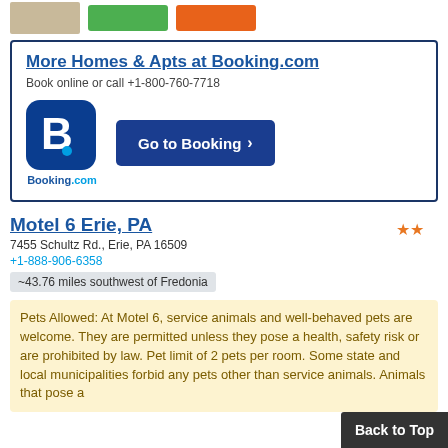[Figure (other): Top strip with a photo thumbnail, green button, and orange button]
More Homes & Apts at Booking.com
Book online or call +1-800-760-7718
[Figure (logo): Booking.com logo (blue rounded square with B.) and Go to Booking button]
Motel 6 Erie, PA
7455 Schultz Rd., Erie, PA 16509
+1-888-906-6358
~43.76 miles southwest of Fredonia
Pets Allowed: At Motel 6, service animals and well-behaved pets are welcome. They are permitted unless they pose a health, safety risk or are prohibited by law. Pet limit of 2 pets per room. Some state and local municipalities forbid any pets other than service animals. Animals that pose a